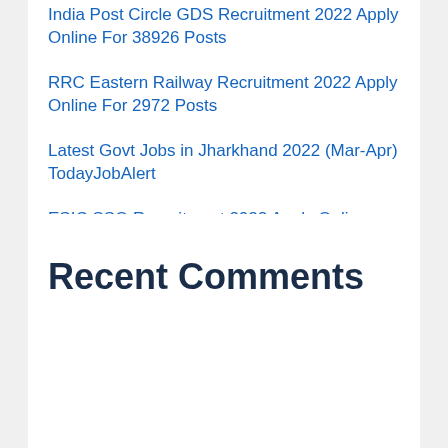India Post Circle GDS Recruitment 2022 Apply Online For 38926 Posts
RRC Eastern Railway Recruitment 2022 Apply Online For 2972 Posts
Latest Govt Jobs in Jharkhand 2022 (Mar-Apr) TodayJobAlert
ESIC SSO Recruitment 2022 Apply Online (Salary-56000) For 93 Post
Bank Of Baroda SO recruitment 2022 Apply Online For 105 Posts
Recent Comments